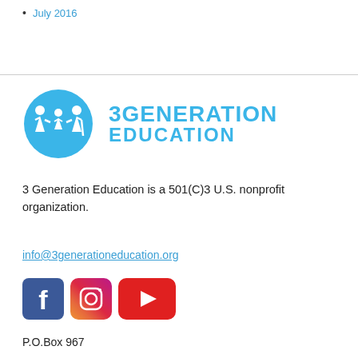July 2016
[Figure (logo): 3Generation Education logo: blue circular icon with three figures (two adults and a child holding hands), next to bold blue text reading '3GENERATION EDUCATION']
3 Generation Education is a 501(C)3 U.S. nonprofit organization.
info@3generationeducation.org
[Figure (illustration): Social media icons: Facebook (blue square with f), Instagram (gradient square with camera), YouTube (red rounded rectangle with play button)]
P.O.Box 967